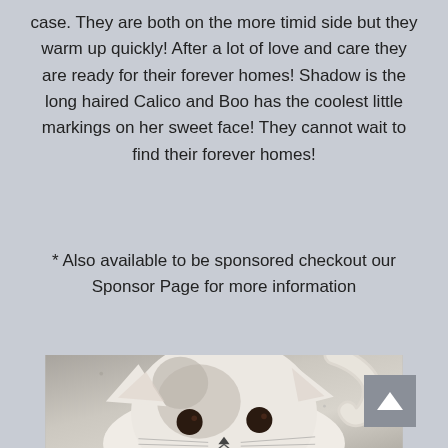case. They are both on the more timid side but they warm up quickly! After a lot of love and care they are ready for their forever homes! Shadow is the long haired Calico and Boo has the coolest little markings on her sweet face! They cannot wait to find their forever homes!
* Also available to be sponsored checkout our Sponsor Page for more information
[Figure (photo): A white and grey cat with distinctive markings on its face, looking at the camera from a low angle. The cat's tail is visible curling upward in the background. A grey scroll-to-top button with an upward chevron is overlaid in the upper right corner of the photo.]